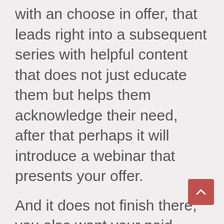with an choose in offer, that leads right into a subsequent series with helpful content that does not just educate them but helps them acknowledge their need, after that perhaps it will introduce a webinar that presents your offer.
And it does not finish there, you also want your paid offerings to form a course for customers to follow where they can deal with you in several ways in time to get to their objectives.
These are simply 3 of the many ways for you to begin producing a brand name that prospects maintains prospects